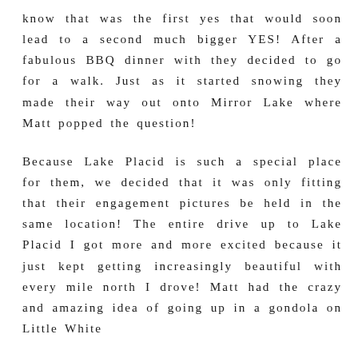know that was the first yes that would soon lead to a second much bigger YES! After a fabulous BBQ dinner with they decided to go for a walk. Just as it started snowing they made their way out onto Mirror Lake where Matt popped the question!

Because Lake Placid is such a special place for them, we decided that it was only fitting that their engagement pictures be held in the same location! The entire drive up to Lake Placid I got more and more excited because it just kept getting increasingly beautiful with every mile north I drove! Matt had the crazy and amazing idea of going up in a gondola on Little White